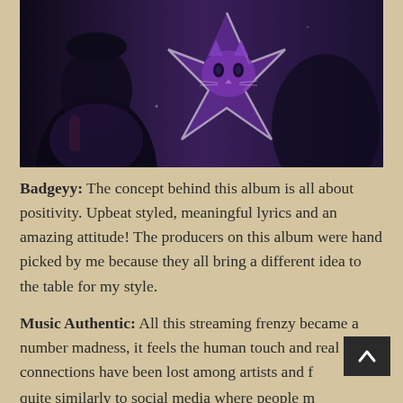[Figure (photo): Dark purple-toned photo of a person wearing a hoodie featuring a stylized cat/fox illustration in a star shape outline. The figure holds what appears to be a bottle. Background is very dark/dim.]
Badgeyy: The concept behind this album is all about positivity. Upbeat styled, meaningful lyrics and an amazing attitude! The producers on this album were hand picked by me because they all bring a different idea to the table for my style.
Music Authentic: All this streaming frenzy became a number madness, it feels the human touch and real connections have been lost among artists and fans, quite similarly to social media where people mostly shout at each other instead of actually listening and